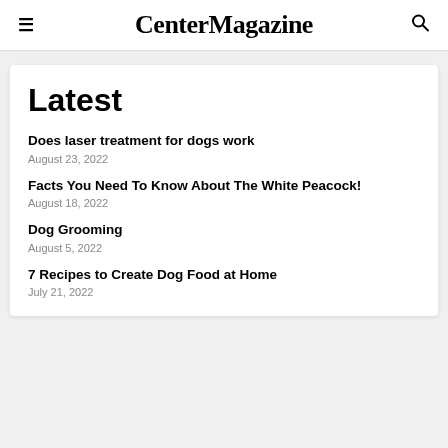CenterMagazine
Latest
Does laser treatment for dogs work
August 23, 2022
Facts You Need To Know About The White Peacock!
August 18, 2022
Dog Grooming
August 5, 2022
7 Recipes to Create Dog Food at Home
July 21, 2022